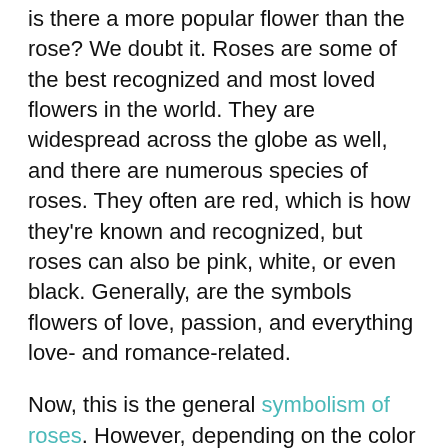is there a more popular flower than the rose? We doubt it. Roses are some of the best recognized and most loved flowers in the world. They are widespread across the globe as well, and there are numerous species of roses. They often are red, which is how they're known and recognized, but roses can also be pink, white, or even black. Generally, are the symbols flowers of love, passion, and everything love- and romance-related.
Now, this is the general symbolism of roses. However, depending on the color of the rose, the symbolism can change. For example, red roses are symbolic of romance and passion. But, pink roses symbolize grace, elegance, and joy. The white rose symbolizes purity and innocence, while black roses